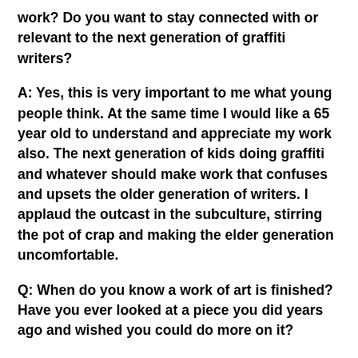work? Do you want to stay connected with or relevant to the next generation of graffiti writers?
A: Yes, this is very important to me what young people think. At the same time I would like a 65 year old to understand and appreciate my work also. The next generation of kids doing graffiti and whatever should make work that confuses and upsets the older generation of writers. I applaud the outcast in the subculture, stirring the pot of crap and making the elder generation uncomfortable.
Q: When do you know a work of art is finished? Have you ever looked at a piece you did years ago and wished you could do more on it?
A: Finished is when its smoldering in a pile of embers. I myself have trouble with finishing. It can be too...